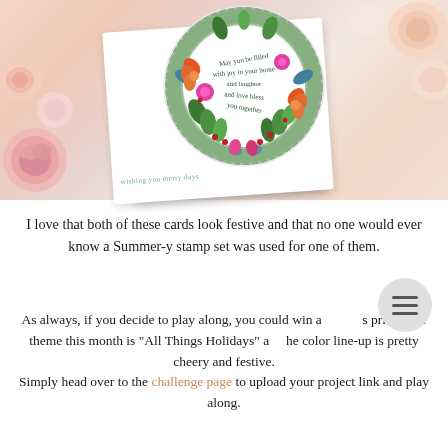[Figure (photo): A handmade greeting card with a floral wreath stamp featuring colorful flowers and leaves in pinks, oranges, and greens on a white scalloped circle, placed on an orange card base, surrounded by pink roses on a light peach background. The white card front has script text 'wishing you merry days' in teal.]
I love that both of these cards look festive and that no one would ever know a Summer-y stamp set was used for one of them.
As always, if you decide to play along, you could win a prize! The theme this month is "All Things Holidays" and the color line-up is pretty cheery and festive. Simply head over to the challenge page to upload your project link and play along.